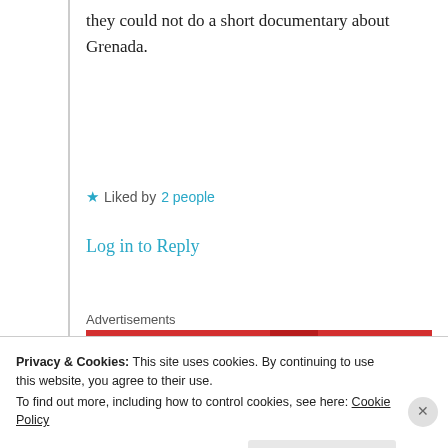they could not do a short documentary about Grenada.
★ Liked by 2 people
Log in to Reply
Advertisements
[Figure (other): Pocket Casts advertisement banner: red background with text 'An app by listeners, for listeners' and Pocket Casts logo with a book graphic]
Hypatia
Privacy & Cookies: This site uses cookies. By continuing to use this website, you agree to their use. To find out more, including how to control cookies, see here: Cookie Policy
Close and accept